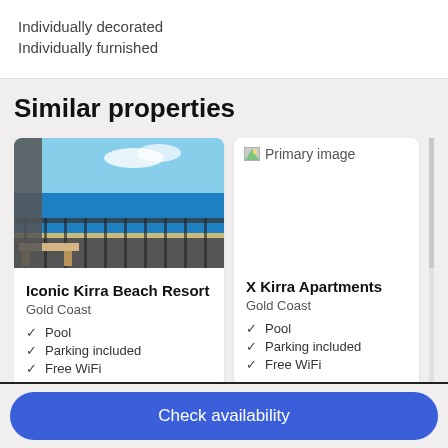Individually decorated
Individually furnished
Similar properties
[Figure (photo): Balcony view of beach at Iconic Kirra Beach Resort, Gold Coast]
Iconic Kirra Beach Resort
Gold Coast
Pool
Parking included
Free WiFi
[Figure (photo): Primary image placeholder for X Kirra Apartments]
X Kirra Apartments
Gold Coast
Pool
Parking included
Free WiFi
Check availability